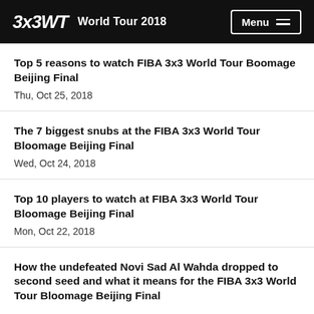3x3WT World Tour 2018
Top 5 reasons to watch FIBA 3x3 World Tour Boomage Beijing Final
Thu, Oct 25, 2018
The 7 biggest snubs at the FIBA 3x3 World Tour Bloomage Beijing Final
Wed, Oct 24, 2018
Top 10 players to watch at FIBA 3x3 World Tour Bloomage Beijing Final
Mon, Oct 22, 2018
How the undefeated Novi Sad Al Wahda dropped to second seed and what it means for the FIBA 3x3 World Tour Bloomage Beijing Final